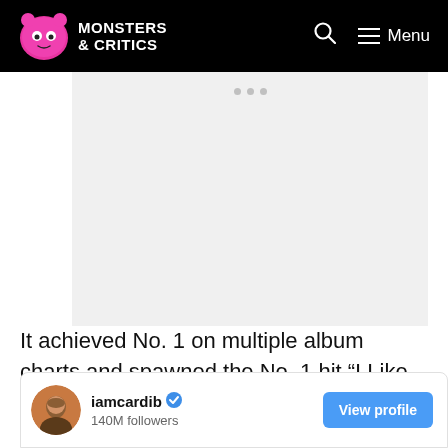Monsters & Critics
[Figure (other): Advertisement placeholder area with three small grey dots at the top center on a light grey background]
It achieved No. 1 on multiple album charts and spawned the No. 1 hit “I Like It” featuring Bad Bunny and J Balvin.
[Figure (screenshot): Instagram profile embed showing iamcardib account with blue verified checkmark, 140M followers, and a View profile button]